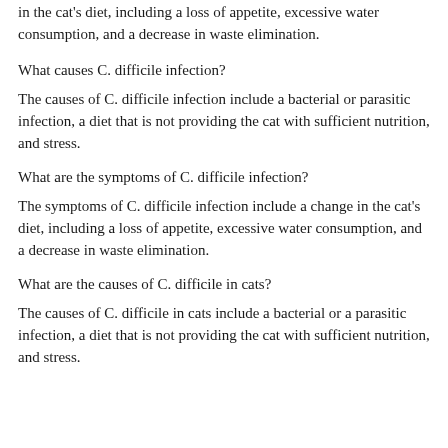in the cat's diet, including a loss of appetite, excessive water consumption, and a decrease in waste elimination.
What causes C. difficile infection?
The causes of C. difficile infection include a bacterial or parasitic infection, a diet that is not providing the cat with sufficient nutrition, and stress.
What are the symptoms of C. difficile infection?
The symptoms of C. difficile infection include a change in the cat's diet, including a loss of appetite, excessive water consumption, and a decrease in waste elimination.
What are the causes of C. difficile in cats?
The causes of C. difficile in cats include a bacterial or a parasitic infection, a diet that is not providing the cat with sufficient nutrition, and stress.